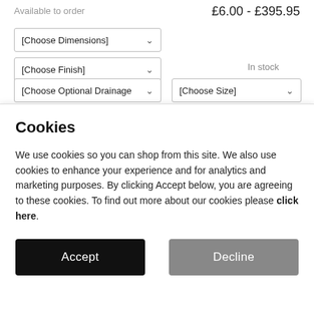Available to order
£6.00 - £395.95
[Choose Dimensions]
[Choose Finish]
In stock
[Choose Optional Drainage
[Choose Size]
Cookies
We use cookies so you can shop from this site. We also use cookies to enhance your experience and for analytics and marketing purposes. By clicking Accept below, you are agreeing to these cookies. To find out more about our cookies please click here.
Accept
Decline